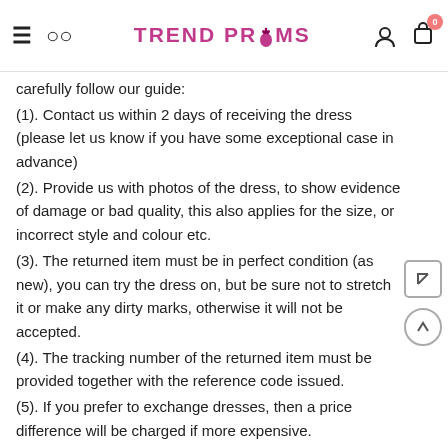TREND PROMS
carefully follow our guide:
(1). Contact us within 2 days of receiving the dress (please let us know if you have some exceptional case in advance)
(2). Provide us with photos of the dress, to show evidence of damage or bad quality, this also applies for the size, or incorrect style and colour etc.
(3). The returned item must be in perfect condition (as new), you can try the dress on, but be sure not to stretch it or make any dirty marks, otherwise it will not be accepted.
(4). The tracking number of the returned item must be provided together with the reference code issued.
(5). If you prefer to exchange dresses, then a price difference will be charged if more expensive.
(6). You are required to pay for the shipping fee to return or exchange the dress.
(7). When you return the package to us, please pay attention to the following points: if not, customers should pay for the